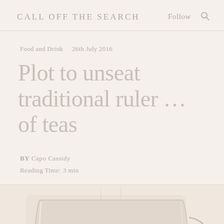CALL OFF THE SEARCH
Food and Drink   26th July 2016
Plot to unseat traditional ruler … of teas
BY Capo Cassidy
Reading Time: 3 min
[Figure (photo): A glass cup of dark tea on a light beige/cream surface, partially cropped at the bottom of the page.]